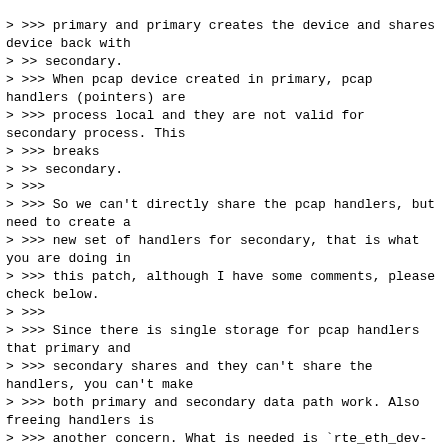> >>> primary and primary creates the device and shares device back with
> >> secondary.
> >>> When pcap device created in primary, pcap handlers (pointers) are
> >>> process local and they are not valid for secondary process. This
> >>> breaks
> >> secondary.
> >>>
> >>> So we can't directly share the pcap handlers, but need to create a
> >>> new set of handlers for secondary, that is what you are doing in
> >>> this patch, although I have some comments, please check below.
> >>>
> >>> Since there is single storage for pcap handlers that primary and
> >>> secondary shares and they can't share the handlers, you can't make
> >>> both primary and secondary data path work. Also freeing handlers is
> >>> another concern. What is needed is `rte_eth_dev->process_private`
> >>> which
> >> has been added in this release.
> >
> > You are right, we should prevent handler be opened in primary be
> corrupted during probe at secondary.